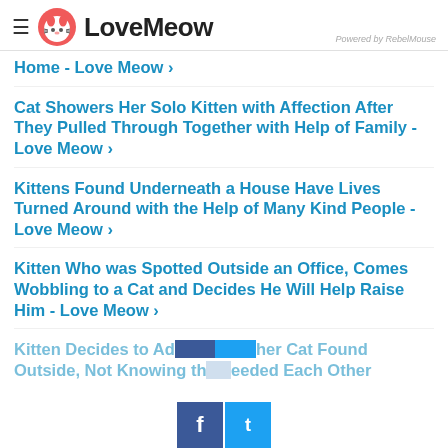LoveMeow — Powered by RebelMouse
Home - Love Meow ›
Cat Showers Her Solo Kitten with Affection After They Pulled Through Together with Help of Family - Love Meow ›
Kittens Found Underneath a House Have Lives Turned Around with the Help of Many Kind People - Love Meow ›
Kitten Who was Spotted Outside an Office, Comes Wobbling to a Cat and Decides He Will Help Raise Him - Love Meow ›
Kitten Decides to Adopt Another Cat Found Outside, Not Knowing They Needed Each Other